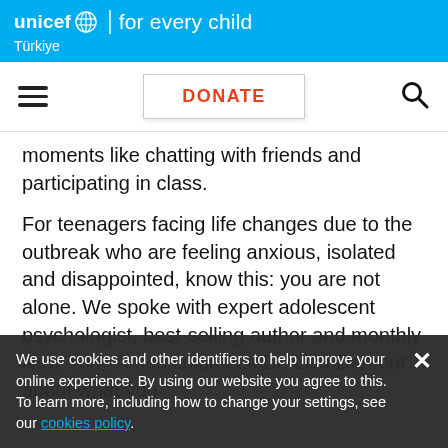unicef for every child | Türkiye
[Figure (screenshot): UNICEF navigation bar with hamburger menu, DONATE button, and search icon]
moments like chatting with friends and participating in class.
For teenagers facing life changes due to the outbreak who are feeling anxious, isolated and disappointed, know this: you are not alone. We spoke with expert adolescent psychologist, best-selling author and monthly New York Times columnist Dr. Lisa Damour about what you
We use cookies and other identifiers to help improve your online experience. By using our website you agree to this. To learn more, including how to change your settings, see our cookies policy.